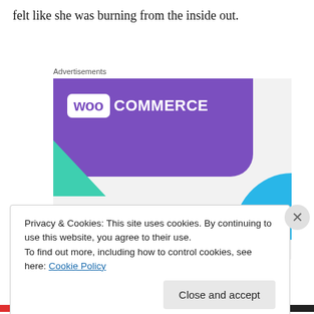felt like she was burning from the inside out.
Advertisements
[Figure (illustration): WooCommerce advertisement banner showing the WooCommerce logo on a purple background with teal and blue geometric accents, text reading 'How to start selling subscriptions online']
Privacy & Cookies: This site uses cookies. By continuing to use this website, you agree to their use.
To find out more, including how to control cookies, see here: Cookie Policy